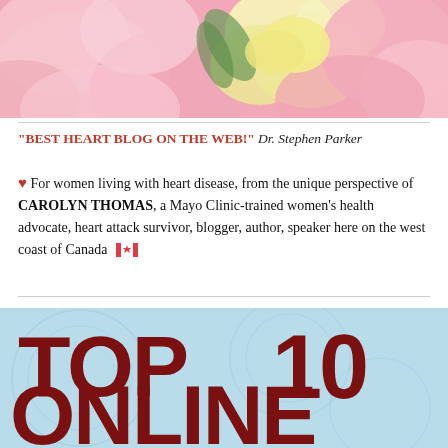[Figure (photo): Close-up photo of pink and yellow flowers (peonies/lilies)]
"BEST HEART BLOG ON THE WEB!" Dr. Stephen Parker
♥ For women living with heart disease, from the unique perspective of CAROLYN THOMAS, a Mayo Clinic-trained women's health advocate, heart attack survivor, blogger, author, speaker here on the west coast of Canada 🇨🇦
[Figure (infographic): TOP 10 ONLINE graphic with dark red bold text on light blue background with circular pattern]